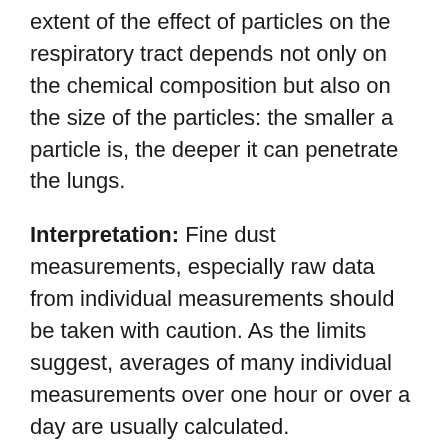extent of the effect of particles on the respiratory tract depends not only on the chemical composition but also on the size of the particles: the smaller a particle is, the deeper it can penetrate the lungs.
Interpretation: Fine dust measurements, especially raw data from individual measurements should be taken with caution. As the limits suggest, averages of many individual measurements over one hour or over a day are usually calculated.
Influences: Measurement height, car traffic,